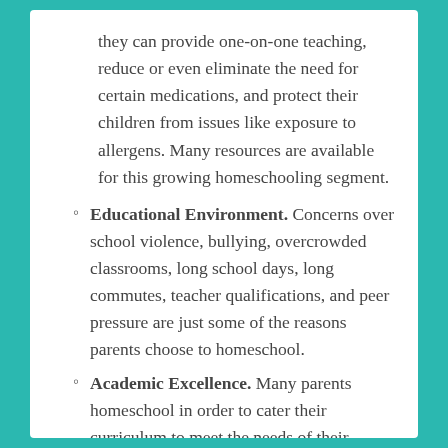they can provide one-on-one teaching, reduce or even eliminate the need for certain medications, and protect their children from issues like exposure to allergens. Many resources are available for this growing homeschooling segment.
Educational Environment. Concerns over school violence, bullying, overcrowded classrooms, long school days, long commutes, teacher qualifications, and peer pressure are just some of the reasons parents choose to homeschool.
Academic Excellence. Many parents homeschool in order to cater their curriculum to meet the needs of their